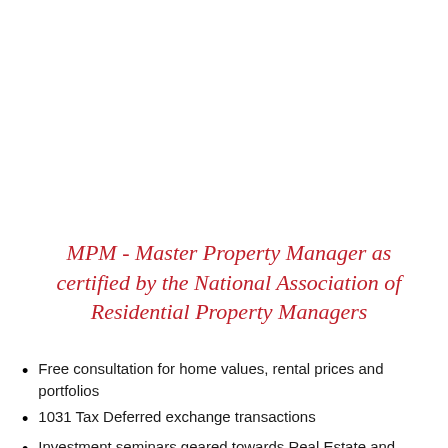MPM - Master Property Manager as certified by the National Association of Residential Property Managers
Free consultation for home values, rental prices and portfolios
1031 Tax Deferred exchange transactions
Investment seminars geared towards Real Estate and property management